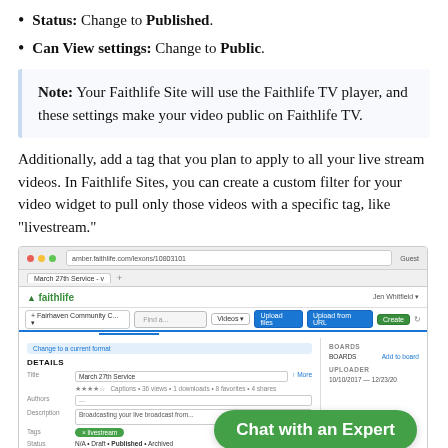Status: Change to Published.
Can View settings: Change to Public.
Note: Your Faithlife Site will use the Faithlife TV player, and these settings make your video public on Faithlife TV.
Additionally, add a tag that you plan to apply to all your live stream videos. In Faithlife Sites, you can create a custom filter for your video widget to pull only those videos with a specific tag, like “livest ream.”
[Figure (screenshot): Screenshot of Faithlife media upload interface showing video details form with a 'livestream' tag chip highlighted in green, and a 'Chat with an Expert' button overlay in the bottom right]